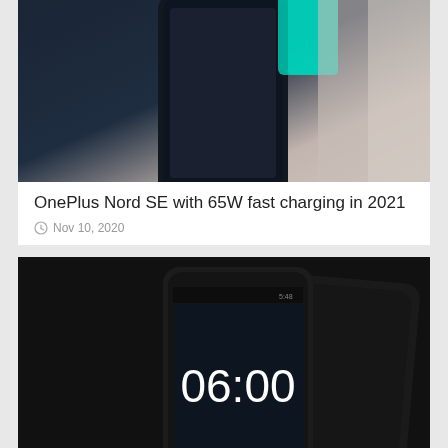[Figure (photo): Partial view of OnePlus Nord SE smartphone, dark blue/black color with teal accent]
OnePlus Nord SE with 65W fast charging in 2021
Nov 10, 2020
[Figure (photo): Nokia Android smartphone (Nokia 6) in black, shown from front and back angles on dark background]
Nokia Android Mobile Announced: Nokia 6 with 4 GB RAM Specifications, Price
Jan 8, 2017
[Figure (photo): Partial view of gold/champagne colored smartphone at bottom of page]